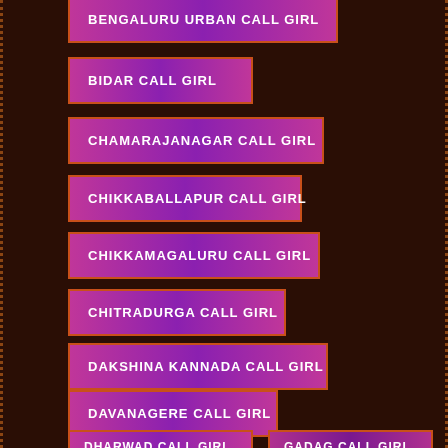BENGALURU URBAN CALL GIRL
BIDAR CALL GIRL
CHAMARAJANAGAR CALL GIRL
CHIKKABALLAPUR CALL GIRL
CHIKKAMAGALURU CALL GIRL
CHITRADURGA CALL GIRL
DAKSHINA KANNADA CALL GIRL
DAVANAGERE CALL GIRL
DHARWAD CALL GIRL
GADAG CALL GIRL